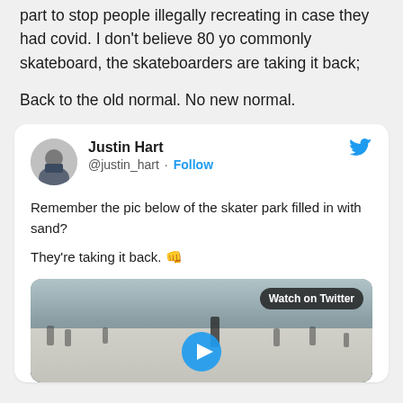part to stop people illegally recreating in case they had covid. I don't believe 80 yo commonly skateboard, the skateboarders are taking it back;
Back to the old normal. No new normal.
[Figure (screenshot): Embedded tweet from Justin Hart (@justin_hart) with Follow button and Twitter bird logo. Tweet text: 'Remember the pic below of the skater park filled in with sand? They’re taking it back. 👊' with a video thumbnail showing a skate park with people and a 'Watch on Twitter' badge and play button.]